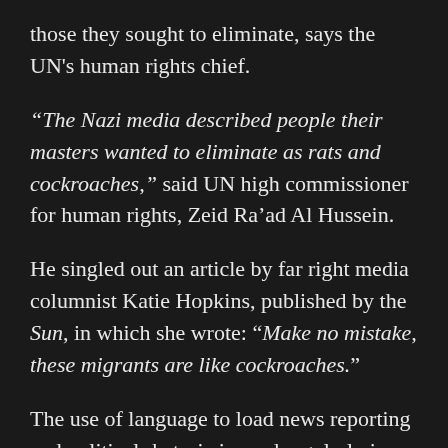those they sought to eliminate, says the UN's human rights chief.
“The Nazi media described people their masters wanted to eliminate as rats and cockroaches,” said UN high commissioner for human rights, Zeid Ra’ad Al Hussein.
He singled out an article by far right media columnist Katie Hopkins, published by the Sun, in which she wrote: “Make no mistake, these migrants are like cockroaches.”
The use of language to load news reporting and political rhetoric is used regularly in domestic situations.